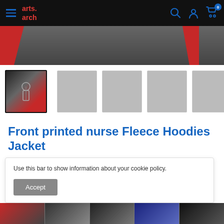[Figure (screenshot): E-commerce website screenshot showing arts.arch store with navigation bar, product thumbnail images of a printed nurse Fleece Hoodies Jacket, product title, star rating, cookie consent bar, and bottom product thumbnails.]
Front printed nurse Fleece Hoodies Jacket
0 reviews
Use this bar to show information about your cookie policy.